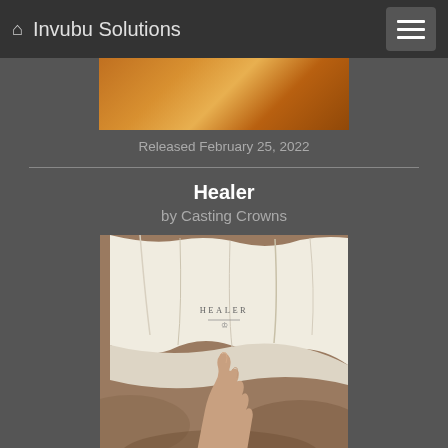Invubu Solutions
Released February 25, 2022
Healer
by Casting Crowns
[Figure (photo): Album cover for Healer by Casting Crowns showing a hand reaching up touching white linen fabric on a grassy background, with 'HEALER' text and crown logo overlay]
Released January 14, 2022